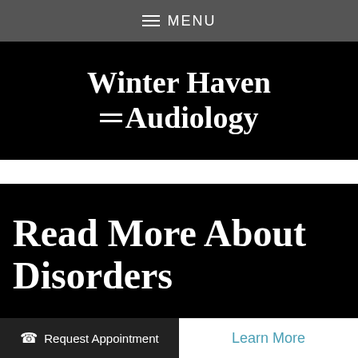MENU
Winter Haven Audiology
Read More About Disorders
Newest Disorders Articles
Request Appointment
Learn More